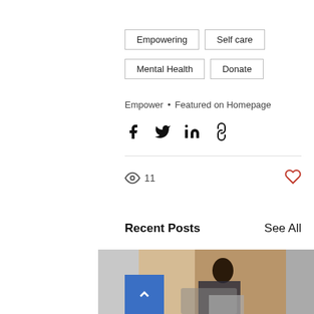Empowering
Self care
Mental Health
Donate
Empower • Featured on Homepage
[Figure (infographic): Social share buttons: Facebook, Twitter, LinkedIn, Link]
11 views, like button
Recent Posts
See All
[Figure (photo): Woman sitting in private jet working on a laptop with a glass of champagne, scroll-to-top button overlay]